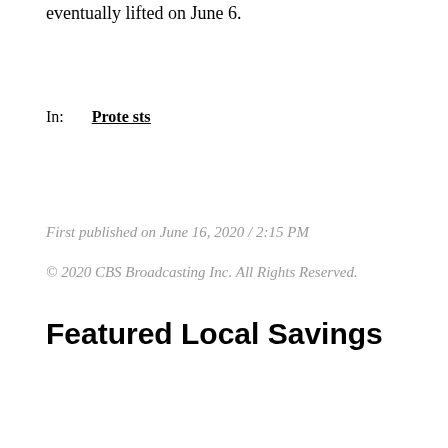eventually lifted on June 6.
In:  Protests
First published on June 16, 2020 / 2:15 PM
© 2020 CBS Broadcasting Inc. All Rights Reserved.
Featured Local Savings